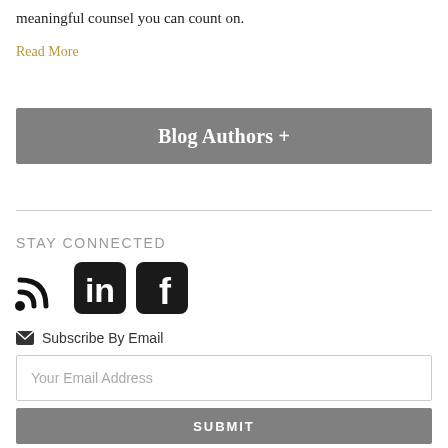meaningful counsel you can count on.
Read More
Blog Authors +
STAY CONNECTED
[Figure (infographic): Social media icons: RSS feed, LinkedIn, Facebook]
Subscribe By Email
Your Email Address
SUBMIT